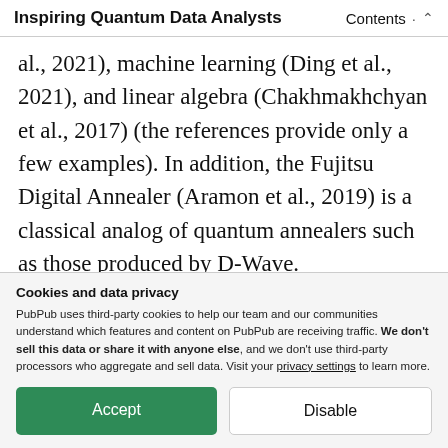Inspiring Quantum Data Analysts · Contents ↑
al., 2021), machine learning (Ding et al., 2021), and linear algebra (Chakhmakhchyan et al., 2017) (the references provide only a few examples). In addition, the Fujitsu Digital Annealer (Aramon et al., 2019) is a classical analog of quantum annealers such as those produced by D-Wave.
Cookies and data privacy
PubPub uses third-party cookies to help our team and our communities understand which features and content on PubPub are receiving traffic. We don't sell this data or share it with anyone else, and we don't use third-party processors who aggregate and sell data. Visit your privacy settings to learn more.
[Accept] [Disable]
demonstrates the ability to improve